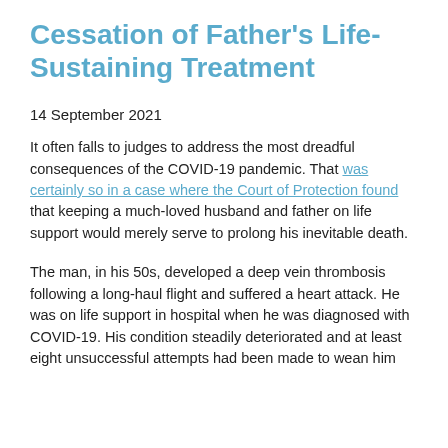Cessation of Father's Life-Sustaining Treatment
14 September 2021
It often falls to judges to address the most dreadful consequences of the COVID-19 pandemic. That was certainly so in a case where the Court of Protection found that keeping a much-loved husband and father on life support would merely serve to prolong his inevitable death.
The man, in his 50s, developed a deep vein thrombosis following a long-haul flight and suffered a heart attack. He was on life support in hospital when he was diagnosed with COVID-19. His condition steadily deteriorated and at least eight unsuccessful attempts had been made to wean him...